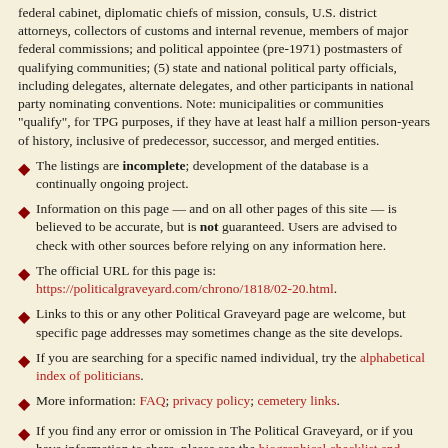federal cabinet, diplomatic chiefs of mission, consuls, U.S. district attorneys, collectors of customs and internal revenue, members of major federal commissions; and political appointee (pre-1971) postmasters of qualifying communities; (5) state and national political party officials, including delegates, alternate delegates, and other participants in national party nominating conventions. Note: municipalities or communities "qualify", for TPG purposes, if they have at least half a million person-years of history, inclusive of predecessor, successor, and merged entities.
The listings are incomplete; development of the database is a continually ongoing project.
Information on this page — and on all other pages of this site — is believed to be accurate, but is not guaranteed. Users are advised to check with other sources before relying on any information here.
The official URL for this page is: https://politicalgraveyard.com/chrono/1818/02-20.html.
Links to this or any other Political Graveyard page are welcome, but specific page addresses may sometimes change as the site develops.
If you are searching for a specific named individual, try the alphabetical index of politicians.
More information: FAQ; privacy policy; cemetery links.
If you find any error or omission in The Political Graveyard, or if you have information to share, please see the biographical checklist and submission guidelines.
Copyright notices: (1) Facts are not subject to copyright; see Feist v. Rural Telephone. (2) Politician portraits displayed on this site are 70-pixel-wide monochrome thumbnail images, which I believe to constitute fair use under applicable copyright law. Where possible, each image is linked to its online source. However, requests from owners of copyrighted images to delete them from this site are honored. (3) Original material, programming, selection and arrangement are © 1996-2019 Lawrence Kestenbaum. (4) This work is also